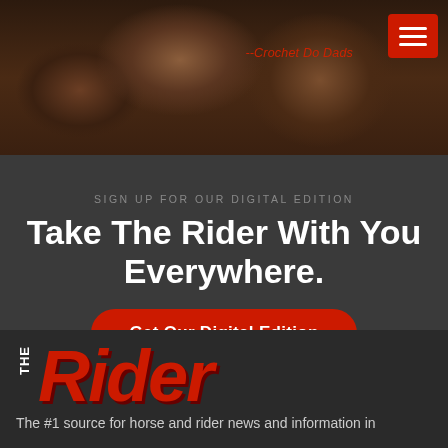[Figure (photo): Dark hero image showing horses or riding equipment with warm brown tones]
--Crochet Do Dads
SIGN UP FOR OUR DIGITAL EDITION
Take The Rider With You Everywhere.
Get Our Digital Edition
For Email Newsletters you can trust.
[Figure (logo): THE Rider magazine logo in red bold italic text]
The #1 source for horse and rider news and information in